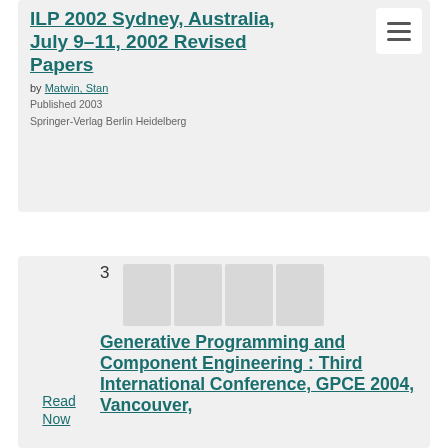ILP 2002 Sydney, Australia, July 9–11, 2002 Revised Papers
by Matwin, Stan
Published 2003
Springer-Verlag Berlin Heidelberg
3
Read Now
Generative Programming and Component Engineering : Third International Conference, GPCE 2004, Vancouver,